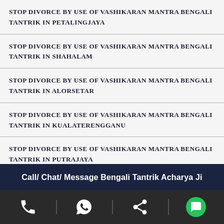STOP DIVORCE BY USE OF VASHIKARAN MANTRA BENGALI TANTRIK IN PETALINGJAYA
STOP DIVORCE BY USE OF VASHIKARAN MANTRA BENGALI TANTRIK IN SHAHALAM
STOP DIVORCE BY USE OF VASHIKARAN MANTRA BENGALI TANTRIK IN ALORSETAR
STOP DIVORCE BY USE OF VASHIKARAN MANTRA BENGALI TANTRIK IN KUALATERENGGANU
STOP DIVORCE BY USE OF VASHIKARAN MANTRA BENGALI TANTRIK IN PUTRAJAYA
Call/ Chat/ Message Bengali Tantrik Acharya Ji